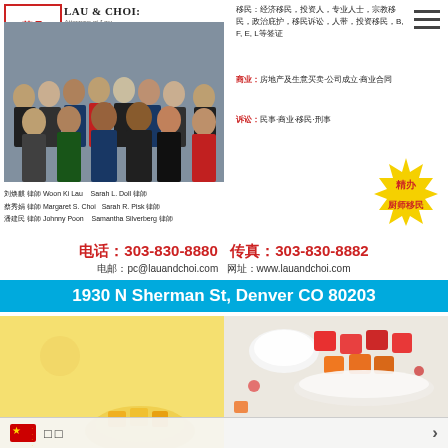[Figure (logo): Law firm logo with Chinese characters 華丹人佛 in red square border]
LAU & CHOI:
[Figure (photo): Group photo of law firm attorneys and staff]
移民：经济移民，投资人，专业人士，宗教移民，政治庇护，移民诉讼，人带，投资移民，B, E, L等签证
商业：房地产及生意买卖·公司成立·商业合同
诉讼：民事·商业·移民·刑事
[Figure (illustration): Gold starburst badge with red text 精办厨师移民]
刘焕麒 律師 Woon Ki Lau   Sarah L. Doll 律師
蔡秀娟 律師 Margaret S. Choi  Sarah R. Pisk 律師
潘建民 律師 Johnny Poon   Samantha Silverberg 律師
电话：303-830-8880  传真：303-830-8882
电邮：pc@lauandchoi.com  网址：www.lauandchoi.com
1930 N Sherman St, Denver CO 80203
[Figure (photo): Food photo with yellow background and fruit/dessert items on right side]
□□